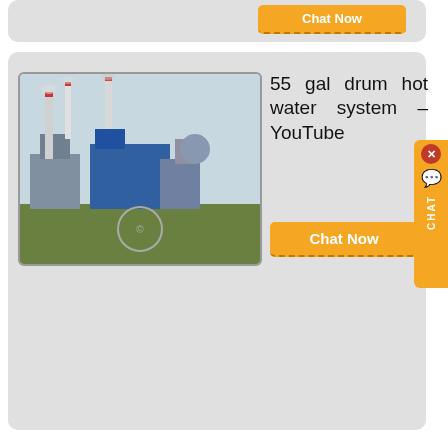[Figure (screenshot): Top partial card with Chat Now button visible]
[Figure (photo): Industrial factory/power plant with tall chimneys and blue industrial buildings]
55 gal drum hot water system – YouTube
Chat Now
[Figure (photo): Partial image of industrial/boiler equipment at top of third card]
Boiler Drum Level Control – Eurotherm
The purpose of the drum level controller is to bring the drum up to level at capacity
the level at constant
am load. A dramatic decrease in ...
[Figure (screenshot): Red popup form overlay with close X, fields: Your Name, E-mail, product select, capacity, More information button, Submit button]